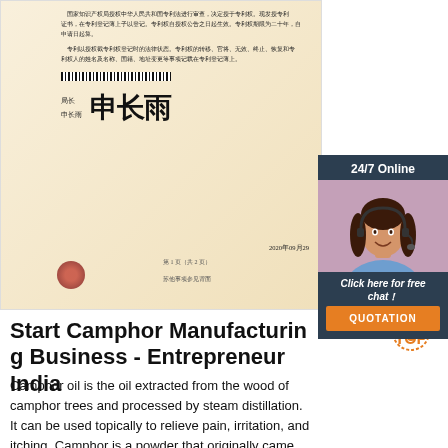[Figure (photo): Chinese patent certificate document with decorative border, barcode, signature in Chinese calligraphy, and official seal dated 2020年09月29日]
[Figure (photo): Customer service representative woman wearing headset smiling, shown in a dark blue chat widget panel with '24/7 Online' header, 'Click here for free chat!' text, and orange QUOTATION button]
Start Camphor Manufacturing Business - Entrepreneur India
Camphor oil is the oil extracted from the wood of camphor trees and processed by steam distillation. It can be used topically to relieve pain, irritation, and itching. Camphor is a powder that originally came from the bark and wood of the camphor tree. Today, most camphor is synthetic.